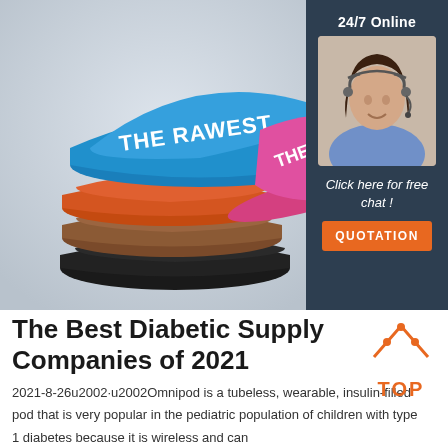[Figure (photo): Stack of colorful bucket hats labeled 'THE RAWEST' in blue, orange, brown and black, displayed against a light gray background]
[Figure (infographic): 24/7 Online chat widget showing a female customer service agent wearing a headset, with text 'Click here for free chat!' and an orange QUOTATION button, on a dark navy background]
The Best Diabetic Supply Companies of 2021
[Figure (illustration): Orange TOP icon with triangular arrow design above the word TOP]
2021-8-26u2002·u2002Omnipod is a tubeless, wearable, insulin-filled pod that is very popular in the pediatric population of children with type 1 diabetes because it is wireless and can